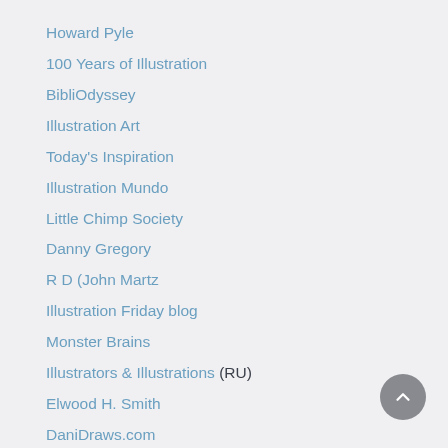Howard Pyle
100 Years of Illustration
BibliOdyssey
Illustration Art
Today's Inspiration
Illustration Mundo
Little Chimp Society
Danny Gregory
R D (John Martz
Illustration Friday blog
Monster Brains
Illustrators & Illustrations (RU)
Elwood H. Smith
DaniDraws.com
Designers Who Blog
iSpot Blog
Sci-Fi & Fantasy
The Art Department